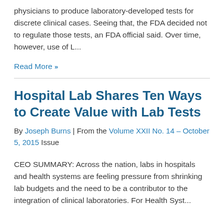physicians to produce laboratory-developed tests for discrete clinical cases. Seeing that, the FDA decided not to regulate those tests, an FDA official said. Over time, however, use of L...
Read More »
Hospital Lab Shares Ten Ways to Create Value with Lab Tests
By Joseph Burns | From the Volume XXII No. 14 – October 5, 2015 Issue
CEO SUMMARY: Across the nation, labs in hospitals and health systems are feeling pressure from shrinking lab budgets and the need to be a contributor to the integration of clinical laboratories. For Health Syst...